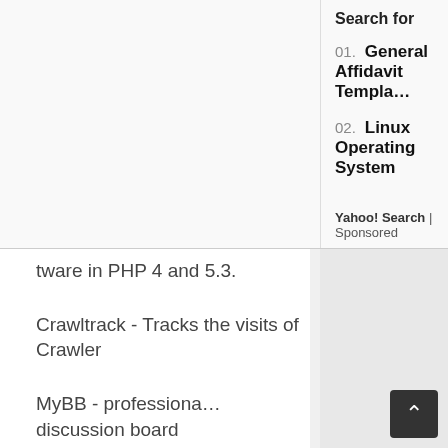Search for
01. General Affidavit Template
02. Linux Operating System
Yahoo! Search | Sponsored
tware in PHP 4 and 5.3.
Crawltrack - Tracks the visits of Crawler
MyBB - professional discussion board
Storytlr - Lifestreaming